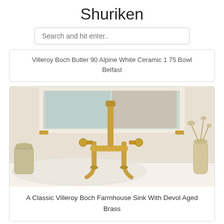Shuriken
Search and hit enter..
Villeroy Boch Butler 90 Alpine White Ceramic 1 75 Bowl Belfast
[Figure (photo): A gold/brass bridge faucet mounted on a white farmhouse sink, set against a creamy white kitchen window background with marble countertop. A ceramic jar and dried flowers are visible on either side.]
A Classic Villeroy Boch Farmhouse Sink With Devol Aged Brass